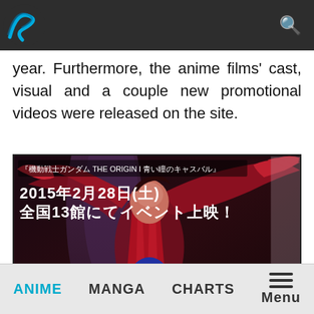[Navigation bar with logo and search icon]
year. Furthermore, the anime films' cast, visual and a couple new promotional videos were released on the site.
[Figure (photo): Anime promotional image for Mobile Suit Gundam THE ORIGIN I with Japanese text: 『機動戦士ガンダム THE ORIGIN I 青い瞳のキャスバル』 2015年2月28日(土) 全国13館にてイベント上映！ Showing characters in an action scene with red and dark tones.]
ANIME   MANGA   CHARTS   Menu